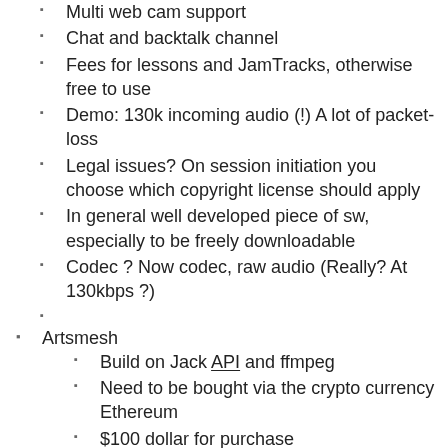Multi web cam support
Chat and backtalk channel
Fees for lessons and JamTracks, otherwise free to use
Demo: 130k incoming audio (!) A lot of packet-loss
Legal issues? On session initiation you choose which copyright license should apply
In general well developed piece of sw, especially to be freely downloadable
Codec ? Now codec, raw audio (Really? At 130kbps ?)
Artsmesh
Build on Jack API and ffmpeg
Need to be bought via the crypto currency Ethereum
$100 dollar for purchase
What about wireless?